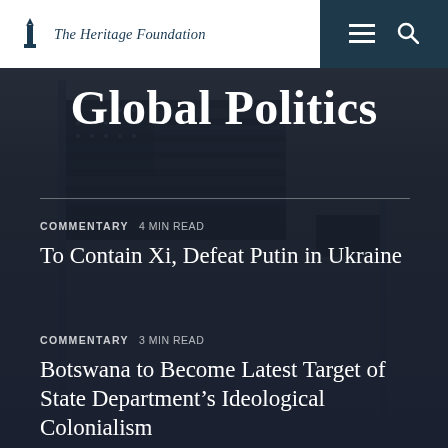The Heritage Foundation
Global Politics
COMMENTARY  4 min read
To Contain Xi, Defeat Putin in Ukraine
COMMENTARY  3 min read
Botswana to Become Latest Target of State Department's Ideological Colonialism